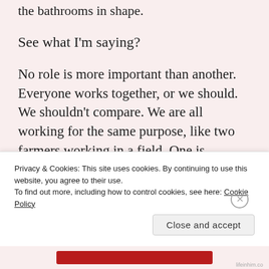the bathrooms in shape.
See what I'm saying?
No role is more important than another. Everyone works together, or we should. We shouldn't compare. We are all working for the same purpose, like two farmers working in a field. One is planting; one is watering. Maybe the farmer who plants gets finished first; maybe he gets paid first. But the whole harvest won't come in until the crops get water. So maybe the farmer who does the watering gets paid later. But both of their roles are essential, and if they
Privacy & Cookies: This site uses cookies. By continuing to use this website, you agree to their use.
To find out more, including how to control cookies, see here: Cookie Policy
Close and accept